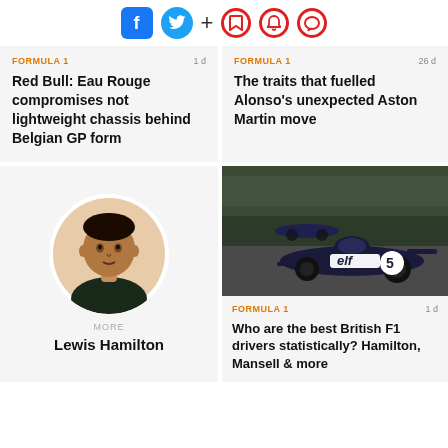[Figure (screenshot): Social media / notification icons: Facebook, Twitter, plus sign, bookmark, bell, chat bubble (red outlines)]
FORMULA 1   1 d
Red Bull: Eau Rouge compromises not lightweight chassis behind Belgian GP form
FORMULA 1   26 d
The traits that fuelled Alonso's unexpected Aston Martin move
[Figure (photo): Circular portrait photo of Lewis Hamilton]
MORE
Lewis Hamilton
[Figure (photo): Racing photo of a dark blue Formula 1 car with 'elf' branding and number 5 on track]
FORMULA 1   1 d
Who are the best British F1 drivers statistically? Hamilton, Mansell & more